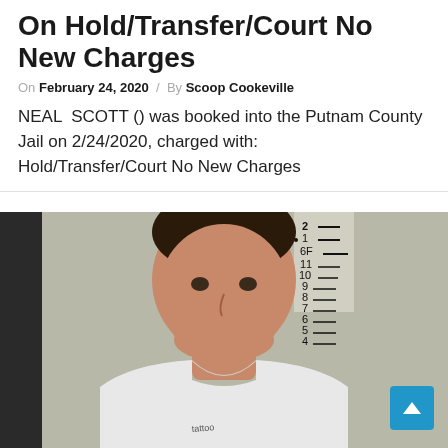On Hold/Transfer/Court No New Charges
On February 24, 2020 / By Scoop Cookeville
NEAL  SCOTT () was booked into the Putnam County Jail on 2/24/2020, charged with: Hold/Transfer/Court No New Charges
[Figure (photo): Mugshot of NEAL SCOTT taken at Putnam County Jail on 2/24/2020, showing a male in a white v-neck shirt standing in front of a height measurement board.]